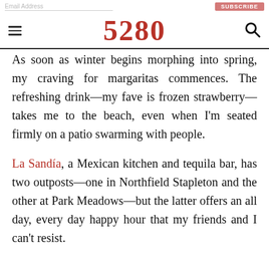5280
As soon as winter begins morphing into spring, my craving for margaritas commences. The refreshing drink—my fave is frozen strawberry—takes me to the beach, even when I'm seated firmly on a patio swarming with people.
La Sandía, a Mexican kitchen and tequila bar, has two outposts—one in Northfield Stapleton and the other at Park Meadows—but the latter offers an all day, every day happy hour that my friends and I can't resist.